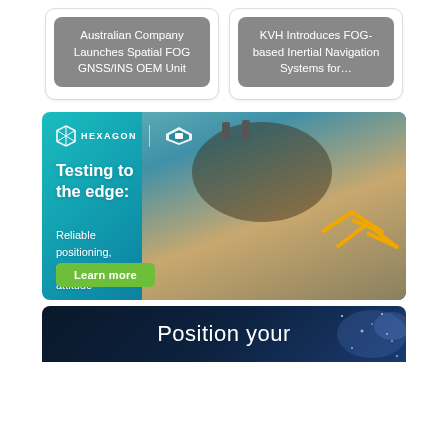[Figure (other): Card with gray label: Australian Company Launches Spatial FOG GNSS/INS OEM Unit]
[Figure (other): Card with gray label: KVH Introduces FOG-based Inertial Navigation Systems for...]
[Figure (other): Hexagon | NovAtel advertisement banner. Testing to the edge: Reliable positioning, velocity and attitude. Learn more button. Background shows military aircraft.]
[Figure (other): Bottom dark blue advertisement banner starting with text 'Position your' with starry background.]